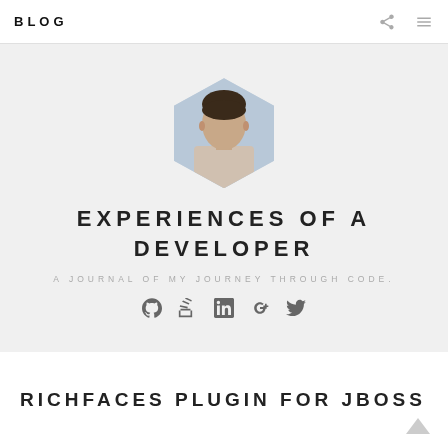BLOG
[Figure (photo): Hexagonal avatar photo of a man]
EXPERIENCES OF A DEVELOPER
A JOURNAL OF MY JOURNEY THROUGH CODE.
[Figure (infographic): Social media icons: GitHub, StackOverflow, LinkedIn, Google+, Twitter]
RICHFACES PLUGIN FOR JBOSS